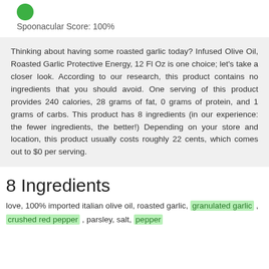Spoonacular Score: 100%
Thinking about having some roasted garlic today? Infused Olive Oil, Roasted Garlic Protective Energy, 12 Fl Oz is one choice; let's take a closer look. According to our research, this product contains no ingredients that you should avoid. One serving of this product provides 240 calories, 28 grams of fat, 0 grams of protein, and 1 grams of carbs. This product has 8 ingredients (in our experience: the fewer ingredients, the better!) Depending on your store and location, this product usually costs roughly 22 cents, which comes out to $0 per serving.
8 Ingredients
love, 100% imported italian olive oil, roasted garlic, granulated garlic , crushed red pepper , parsley, salt, pepper